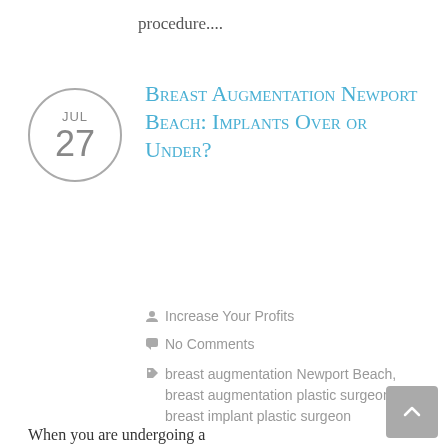procedure....
Breast Augmentation Newport Beach: Implants Over or Under?
Increase Your Profits
No Comments
breast augmentation Newport Beach, breast augmentation plastic surgeon, breast implant plastic surgeon
When you are undergoing a